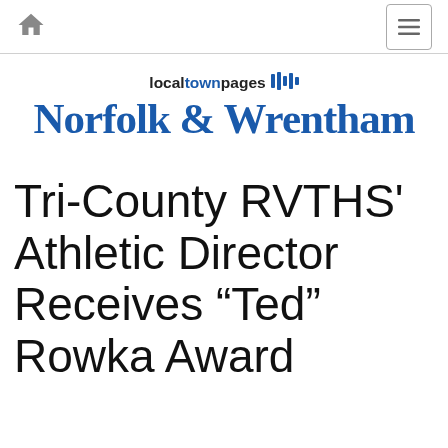home | menu
[Figure (logo): localtownpages logo with Norfolk & Wrentham text in blue serif font]
Tri-County RVTHS' Athletic Director Receives “Ted” Rowka Award